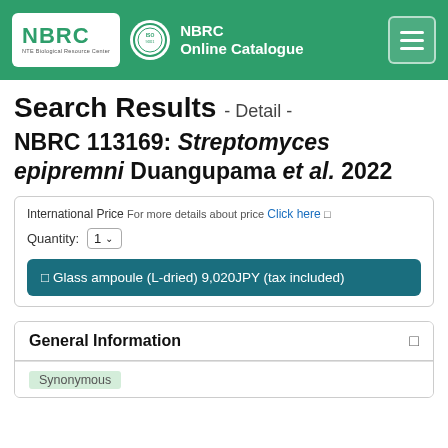NBRC Online Catalogue
Search Results - Detail -
NBRC 113169: Streptomyces epipremni Duangupama et al. 2022
International Price For more details about price Click here
Quantity: 1
Glass ampoule (L-dried) 9,020JPY (tax included)
General Information
Synonymous